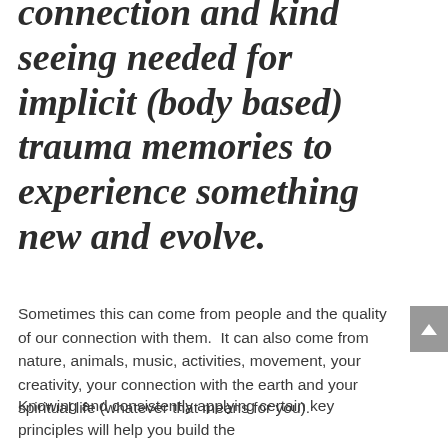connection and kind seeing needed for implicit (body based) trauma memories to experience something new and evolve.
Sometimes this can come from people and the quality of our connection with them.  It can also come from nature, animals, music, activities, movement, your creativity, your connection with the earth and your spiritual life (whatever that means for you).
Knowing and consistently applying certain key principles will help you build the